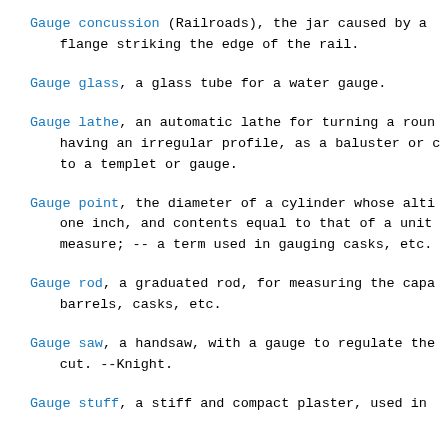Gauge concussion (Railroads), the jar caused by a flange striking the edge of the rail.
Gauge glass, a glass tube for a water gauge.
Gauge lathe, an automatic lathe for turning a round having an irregular profile, as a baluster or c to a templet or gauge.
Gauge point, the diameter of a cylinder whose alti one inch, and contents equal to that of a unit measure; -- a term used in gauging casks, etc.
Gauge rod, a graduated rod, for measuring the capa barrels, casks, etc.
Gauge saw, a handsaw, with a gauge to regulate the cut. --Knight.
Gauge stuff, a stiff and compact plaster, used in